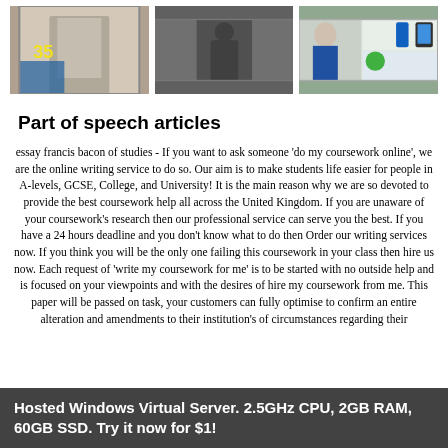[Figure (photo): Three magazine cover thumbnails displayed in a row]
Part of speech articles
essay francis bacon of studies - If you want to ask someone ‘do my coursework online’, we are the online writing service to do so. Our aim is to make students life easier for people in A-levels, GCSE, College, and University! It is the main reason why we are so devoted to provide the best coursework help all across the United Kingdom. If you are unaware of your coursework’s research then our professional service can serve you the best. If you have a 24 hours deadline and you don’t know what to do then Order our writing services now. If you think you will be the only one failing this coursework in your class then hire us now. Each request of ‘write my coursework for me’ is to be started with no outside help and is focused on your viewpoints and with the desires of hire my coursework from me. This paper will be passed on task, your customers can fully optimise to confirm an entire alteration and amendments to their institution’s of circumstances regarding their
Hosted Windows Virtual Server. 2.5GHz CPU, 2GB RAM, 60GB SSD. Try it now for $1!